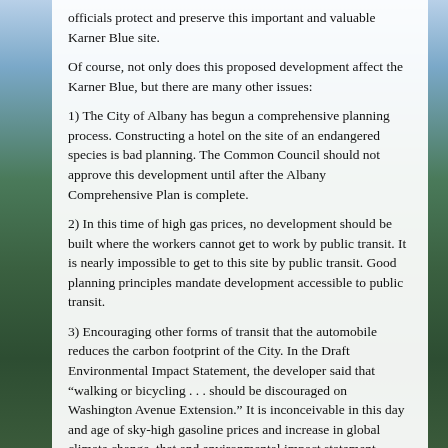officials protect and preserve this important and valuable Karner Blue site.
Of course, not only does this proposed development affect the Karner Blue, but there are many other issues:
1) The City of Albany has begun a comprehensive planning process. Constructing a hotel on the site of an endangered species is bad planning. The Common Council should not approve this development until after the Albany Comprehensive Plan is complete.
2) In this time of high gas prices, no development should be built where the workers cannot get to work by public transit. It is nearly impossible to get to this site by public transit. Good planning principles mandate development accessible to public transit.
3) Encouraging other forms of transit that the automobile reduces the carbon footprint of the City. In the Draft Environmental Impact Statement, the developer said that “walking or bicycling . . . should be discouraged on Washington Avenue Extension.” It is inconceivable in this day and age of sky-high gasoline prices and increase in global climate change, that and environmental impact statement adopted by the City of Albany, would state that walking and bicycling anywhere should be discouraged.